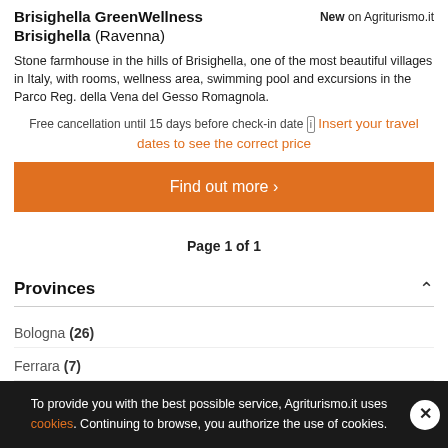Brisighella GreenWellness Brisighella (Ravenna)
New on Agriturismo.it
Stone farmhouse in the hills of Brisighella, one of the most beautiful villages in Italy, with rooms, wellness area, swimming pool and excursions in the Parco Reg. della Vena del Gesso Romagnola.
Free cancellation until 15 days before check-in date [i] Insert your travel dates to see the correct price
Find out more >
Page 1 of 1
Provinces
Bologna (26)
Ferrara (7)
To provide you with the best possible service, Agriturismo.it uses cookies. Continuing to browse, you authorize the use of cookies.